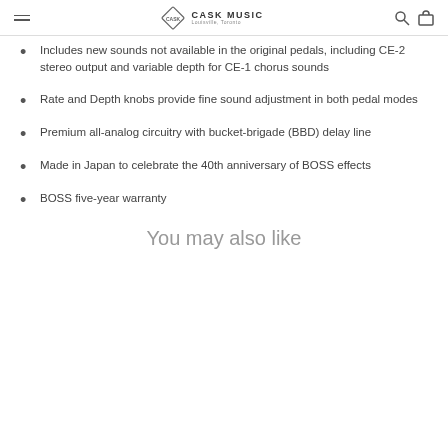CASK MUSIC
Includes new sounds not available in the original pedals, including CE-2 stereo output and variable depth for CE-1 chorus sounds
Rate and Depth knobs provide fine sound adjustment in both pedal modes
Premium all-analog circuitry with bucket-brigade (BBD) delay line
Made in Japan to celebrate the 40th anniversary of BOSS effects
BOSS five-year warranty
You may also like